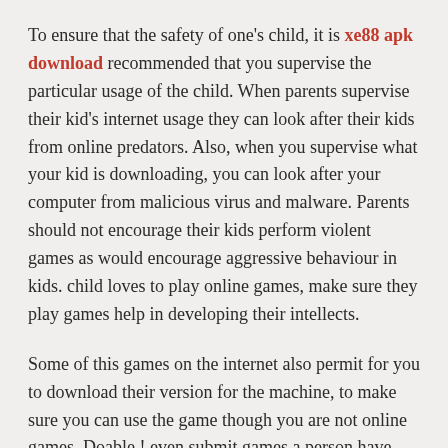To ensure that the safety of one's child, it is xe88 apk download recommended that you supervise the particular usage of the child. When parents supervise their kid's internet usage they can look after their kids from online predators. Also, when you supervise what your kid is downloading, you can look after your computer from malicious virus and malware. Parents should not encourage their kids perform violent games as would encourage aggressive behaviour in kids. child loves to play online games, make sure they play games help in developing their intellects.
Some of this games on the internet also permit for you to download their version for the machine, to make sure you can use the game though you are not online games. Doable ! even submit games a person have concocted to certain game sites for others to practice.